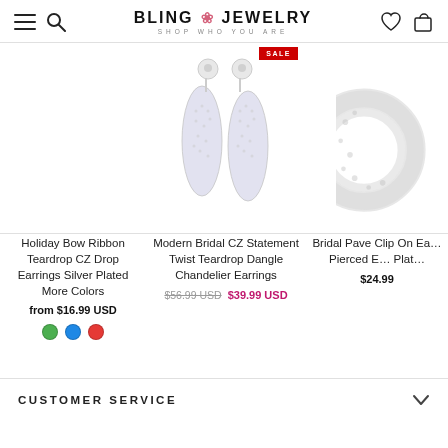[Figure (logo): Bling Jewelry logo with hamburger menu, search icon, heart and bag icons]
[Figure (photo): Holiday Bow Ribbon Teardrop CZ Drop Earrings Silver Plated - product image (blank area, no image visible)]
Holiday Bow Ribbon Teardrop CZ Drop Earrings Silver Plated More Colors
from $16.99 USD
[Figure (photo): Modern Bridal CZ Statement Twist Teardrop Dangle Chandelier Earrings - silver crystal drop earrings on white background with SALE badge]
Modern Bridal CZ Statement Twist Teardrop Dangle Chandelier Earrings
$56.99 USD $39.99 USD
[Figure (photo): Bridal Pave Clip On Earrings / Pierced Earrings Silver Plated - partially visible on right edge]
Bridal Pave Clip On Earrings Pierced Earrings Silver Plated
$24.99
CUSTOMER SERVICE